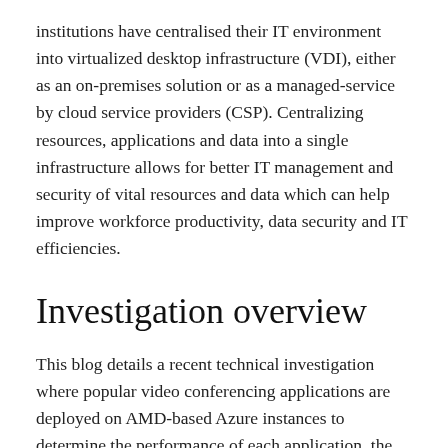institutions have centralised their IT environment into virtualized desktop infrastructure (VDI), either as an on-premises solution or as a managed-service by cloud service providers (CSP). Centralizing resources, applications and data into a single infrastructure allows for better IT management and security of vital resources and data which can help improve workforce productivity, data security and IT efficiencies.
Investigation overview
This blog details a recent technical investigation where popular video conferencing applications are deployed on AMD-based Azure instances to determine the performance of each application, the number of deployable users in a multi-session environment, and the